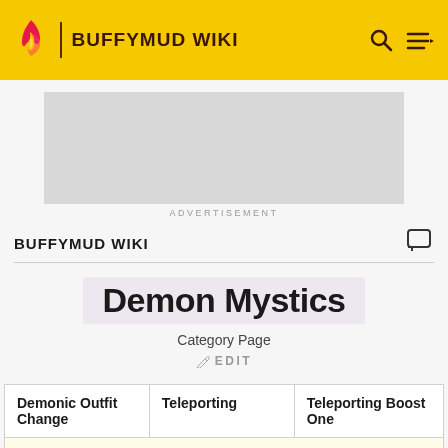BUFFYMUD WIKI
[Figure (screenshot): Advertisement placeholder (gray box)]
ADVERTISEMENT
BUFFYMUD WIKI
Demon Mystics
Category Page
EDIT
| Demonic Outfit Change | Teleporting | Teleporting Boost One |
| --- | --- | --- |